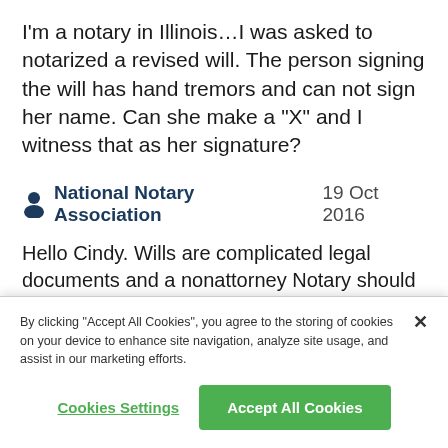I'm a notary in Illinois…I was asked to notarized a revised will. The person signing the will has hand tremors and can not sign her name. Can she make a "X" and I witness that as her signature?
National Notary Association   19 Oct 2016
Hello Cindy. Wills are complicated legal documents and a nonattorney Notary should not advise a signer how the will should be completed. The signer would need to contact a qualified attorney
By clicking "Accept All Cookies", you agree to the storing of cookies on your device to enhance site navigation, analyze site usage, and assist in our marketing efforts.